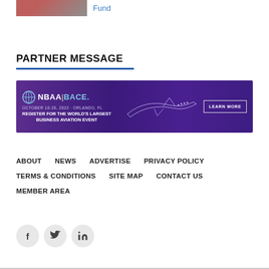[Figure (photo): Small thumbnail photo of red chairs/seating area]
Fund
PARTNER MESSAGE
[Figure (infographic): NBAA BACE advertisement banner - OCTOBER 18-20, 2022 ORLANDO, FL - REGISTER FOR THE WORLD'S LARGEST BUSINESS AVIATION EVENT - LEARN MORE]
ABOUT
NEWS
ADVERTISE
PRIVACY POLICY
TERMS & CONDITIONS
SITE MAP
CONTACT US
MEMBER AREA